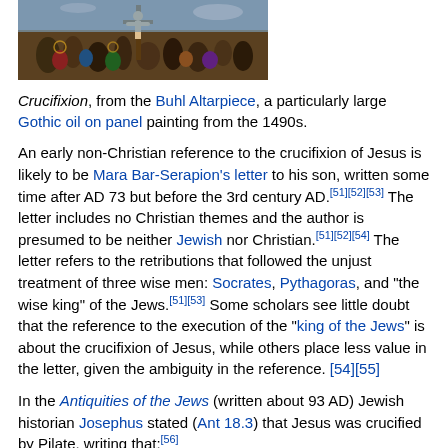[Figure (photo): Painting of Crucifixion scene, from the Buhl Altarpiece, a Gothic oil on panel artwork from the 1490s.]
Crucifixion, from the Buhl Altarpiece, a particularly large Gothic oil on panel painting from the 1490s.
An early non-Christian reference to the crucifixion of Jesus is likely to be Mara Bar-Serapion's letter to his son, written some time after AD 73 but before the 3rd century AD.[51][52][53] The letter includes no Christian themes and the author is presumed to be neither Jewish nor Christian.[51][52][54] The letter refers to the retributions that followed the unjust treatment of three wise men: Socrates, Pythagoras, and "the wise king" of the Jews.[51][53] Some scholars see little doubt that the reference to the execution of the "king of the Jews" is about the crucifixion of Jesus, while others place less value in the letter, given the ambiguity in the reference.[54][55]
In the Antiquities of the Jews (written about 93 AD) Jewish historian Josephus stated (Ant 18.3) that Jesus was crucified by Pilate, writing that:[56]
Now there was about this time Jesus, a wise man, ... He drew over to him both many of the Jews and many of the Gentiles ... And when Pilate, at the suggestion